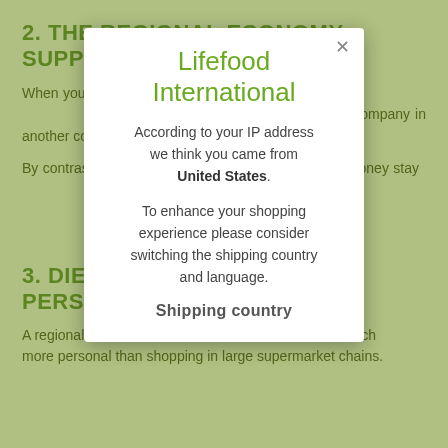2. THE REGIONAL ECONOMY SUPPORTS ITSELF
When you shop at Lifefood, a large part of every cent you spend goes into the cash register of a small producer or company in another country, which creates jobs in its own region.
By contrast, when buying from large producers, the money stays in a few hands, is not invested in the same active way in the region, and benefits not only small producers but the whole regional economy and population – and the environment.
[Figure (screenshot): Modal popup from Lifefood International website. Title: 'Lifefood International'. Body text: 'According to your IP address we think you came from United States. To enhance your shopping experience please consider switching the shipping country and language.' Footer text: 'Shipping country']
3. DIET BECOMES MORE PERSONAL
A regional and at the same time seasonal diet is so much more personal than shopping in large supermarket chains.